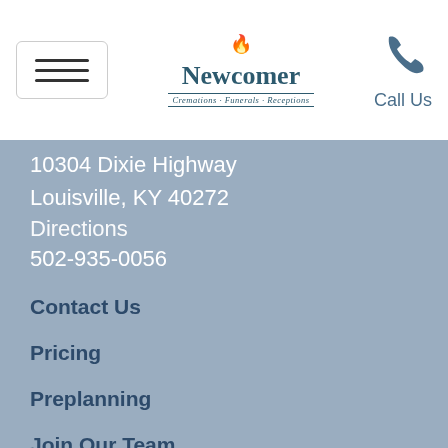Newcomer Cremations · Funerals · Receptions — Call Us
10304 Dixie Highway
Louisville, KY 40272
Directions
502-935-0056
Contact Us
Pricing
Preplanning
Join Our Team